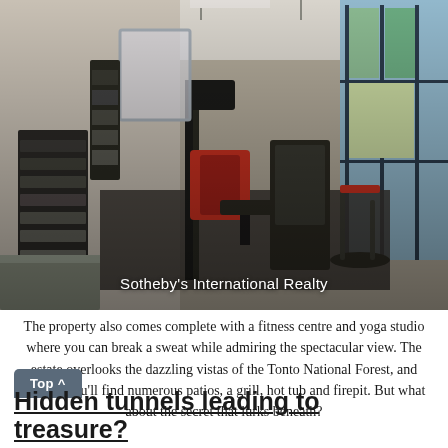[Figure (photo): Interior photo of a home fitness centre with gym equipment including weight machines, a spinning bike, dumbbells on a rack, and large windows overlooking a scenic outdoor view. Photo credited to Sotheby's International Realty.]
Sotheby's International Realty
The property also comes complete with a fitness centre and yoga studio where you can break a sweat while admiring the spectacular view. The estate overlooks the dazzling vistas of the Tonto National Forest, and outside you'll find numerous patios, a grill, hot tub and firepit. But what about the secret that lurks beneath?
Top ^
Hidden tunnels leading to treasure?